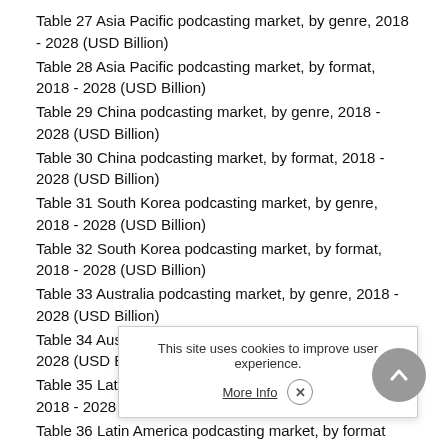Table 27 Asia Pacific podcasting market, by genre, 2018 - 2028 (USD Billion)
Table 28 Asia Pacific podcasting market, by format, 2018 - 2028 (USD Billion)
Table 29 China podcasting market, by genre, 2018 - 2028 (USD Billion)
Table 30 China podcasting market, by format, 2018 - 2028 (USD Billion)
Table 31 South Korea podcasting market, by genre, 2018 - 2028 (USD Billion)
Table 32 South Korea podcasting market, by format, 2018 - 2028 (USD Billion)
Table 33 Australia podcasting market, by genre, 2018 - 2028 (USD Billion)
Table 34 Australia podcasting market, by format, 2018 - 2028 (USD Billion)
Table 35 Latin America podcasting market, by genre, 2018 - 2028 (USD Billion)
Table 36 Latin America podcasting market, by format